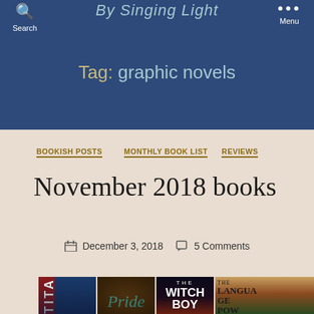By Singing Light
Tag: graphic novels
BOOKISH POSTS  MONTHLY BOOK LIST  REVIEWS
November 2018 books
December 3, 2018  5 Comments
[Figure (photo): Four book covers: Titanic (blue and red), Pride (dark ornate frame with teal title), The Witch Boy (dark background with character), The Language of Power (tropical scene)]